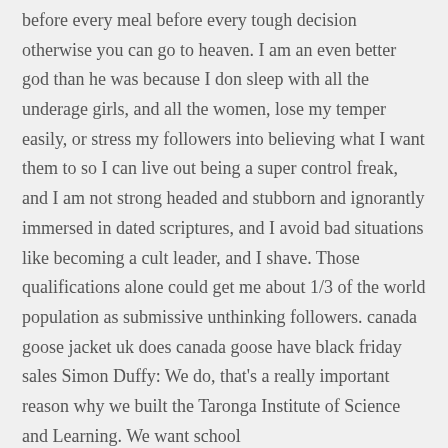before every meal before every tough decision otherwise you can go to heaven. I am an even better god than he was because I don sleep with all the underage girls, and all the women, lose my temper easily, or stress my followers into believing what I want them to so I can live out being a super control freak, and I am not strong headed and stubborn and ignorantly immersed in dated scriptures, and I avoid bad situations like becoming a cult leader, and I shave. Those qualifications alone could get me about 1/3 of the world population as submissive unthinking followers. canada goose jacket uk does canada goose have black friday sales Simon Duffy: We do, that's a really important reason why we built the Taronga Institute of Science and Learning. We want school